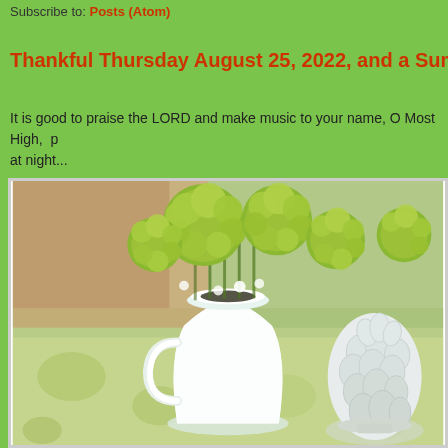Subscribe to: Posts (Atom)
Thankful Thursday August 25, 2022, and a Summer Table from
It is good to praise the LORD and make music to your name, O Most High,  p at night...
[Figure (photo): A white ceramic pitcher filled with green fluffy chrysanthemum flowers on a floral tablecloth, with a white ceramic artichoke decoration to the right.]